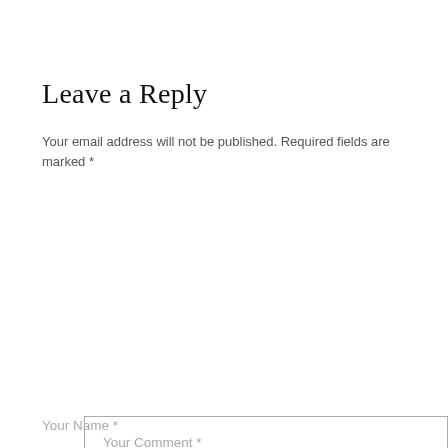Leave a Reply
Your email address will not be published. Required fields are marked *
Your Comment *
Your Name *